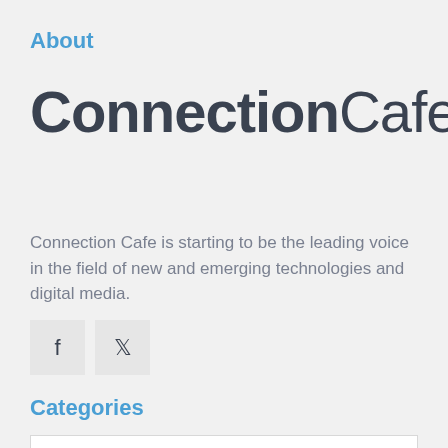About
ConnectionCafe
Connection Cafe is starting to be the leading voice in the field of new and emerging technologies and digital media.
[Figure (other): Social media icons: Facebook (f) and Twitter (bird) as square grey buttons]
Categories
Select Category
Twitter Feed